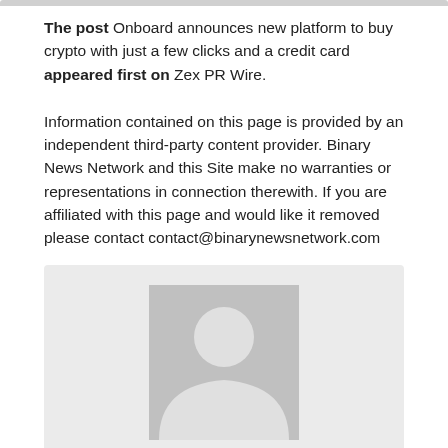The post Onboard announces new platform to buy crypto with just a few clicks and a credit card appeared first on Zex PR Wire.
Information contained on this page is provided by an independent third-party content provider. Binary News Network and this Site make no warranties or representations in connection therewith. If you are affiliated with this page and would like it removed please contact contact@binarynewsnetwork.com
[Figure (illustration): Default avatar placeholder image showing a generic person silhouette (head and shoulders) in light gray on a medium gray background, centered in a card area.]
BINARY NEWS NETWORK
https://binarynewsnetwork.com/